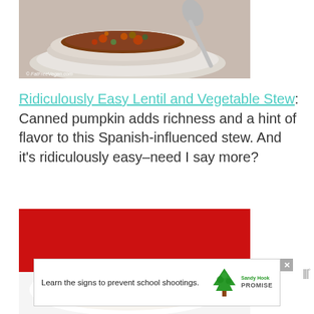[Figure (photo): Photo of a decorative white bowl filled with lentil and vegetable stew with a spoon resting in it, on a matching white saucer. Copyright watermark 'FatFreeVegan.com' visible.]
Ridiculously Easy Lentil and Vegetable Stew: Canned pumpkin adds richness and a hint of flavor to this Spanish-influenced stew. And it's ridiculously easy–need I say more?
[Figure (photo): Photo of a white plate with a lentil or grain patty/cake served on it, on a red background.]
[Figure (screenshot): Advertisement banner: 'Learn the signs to prevent school shootings.' with Sandy Hook Promise logo (green tree). Close button (X) in upper right.]